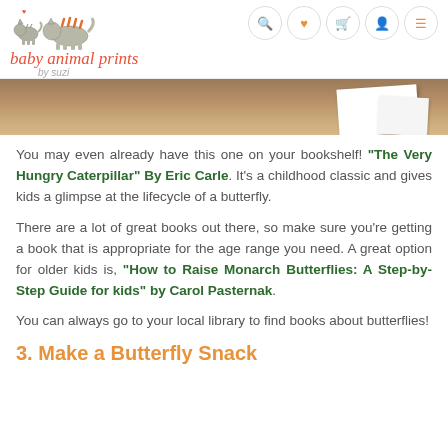baby animal prints by suzi — navigation header with logo and icons
[Figure (photo): Partial photo of a card/paper on a wooden surface, cropped at top]
You may even already have this one on your bookshelf! "The Very Hungry Caterpillar" By Eric Carle. It's a childhood classic and gives kids a glimpse at the lifecycle of a butterfly.
There are a lot of great books out there, so make sure you're getting a book that is appropriate for the age range you need. A great option for older kids is, "How to Raise Monarch Butterflies: A Step-by-Step Guide for kids" by Carol Pasternak.
You can always go to your local library to find books about butterflies!
3. Make a Butterfly Snack